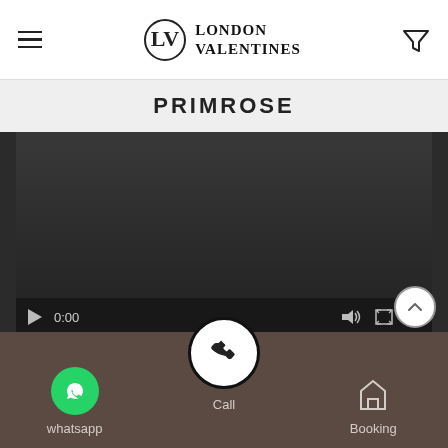London Valentines
PRIMROSE
[Figure (screenshot): Video player with dark background, play controls showing 0:00, volume, fullscreen and more-options icons, and a progress bar]
whatsapp  Call  Booking